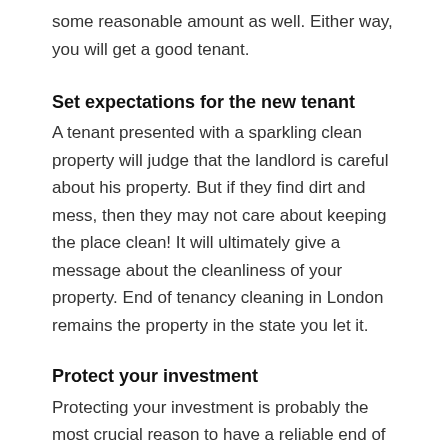some reasonable amount as well. Either way, you will get a good tenant.
Set expectations for the new tenant
A tenant presented with a sparkling clean property will judge that the landlord is careful about his property. But if they find dirt and mess, then they may not care about keeping the place clean! It will ultimately give a message about the cleanliness of your property. End of tenancy cleaning in London remains the property in the state you let it.
Protect your investment
Protecting your investment is probably the most crucial reason to have a reliable end of tenancy cleaning in London. For a property owner, a clean and spotless property can be an inventory, and a trusted cleaning